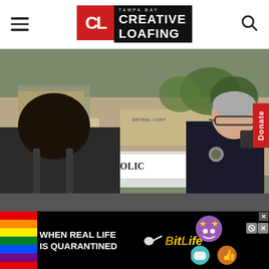Creative Loafing Tampa Bay – navigation header with hamburger menu and search icon
[Figure (photo): A police officer in uniform with glasses and gray hair speaks with a Black man outdoors, with a police cruiser and storefronts including Matinger's and Central Coffee visible in the background.]
[Figure (other): Donate tab on right side of photo, red background with white vertical text 'Donate']
[Figure (infographic): BitLife advertisement banner: rainbow stripe on left, text 'WHEN REAL LIFE IS QUARANTINED', sperm icon, BitLife logo in gold, emoji icons, and close button on right.]